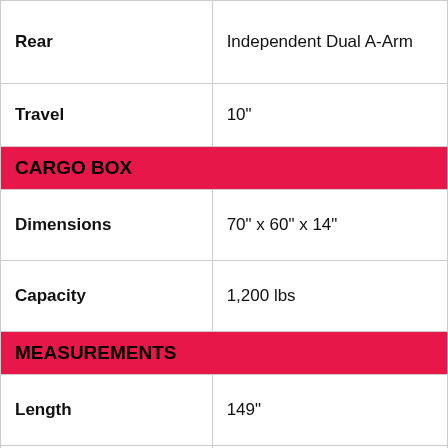| Attribute | Value |
| --- | --- |
| Rear | Independent Dual A-Arm |
| Travel | 10" |
| CARGO BOX |  |
| Dimensions | 70" x 60" x 14" |
| Capacity | 1,200 lbs |
| MEASUREMENTS |  |
| Length | 149" |
| Width | 63" |
| Height | 78" |